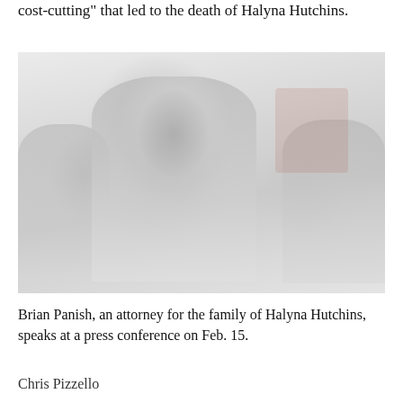cost-cutting" that led to the death of Halyna Hutchins.
[Figure (photo): Brian Panish, an attorney for the family of Halyna Hutchins, speaks at a press conference on Feb. 15. A man in a suit is in the foreground with other people visible behind him.]
Brian Panish, an attorney for the family of Halyna Hutchins, speaks at a press conference on Feb. 15.
Chris Pizzello